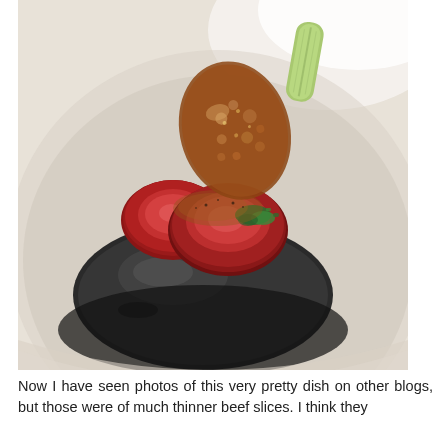[Figure (photo): A plated fine dining dish showing slices of seared or raw beef (likely tataki or similar preparation) topped with a crispy lacy tuile and green herbs, resting on a large dark smooth river stone placed in a white bowl. The dish is elegantly presented with the meat having a deep red interior.]
Now I have seen photos of this very pretty dish on other blogs, but those were of much thinner beef slices. I think they